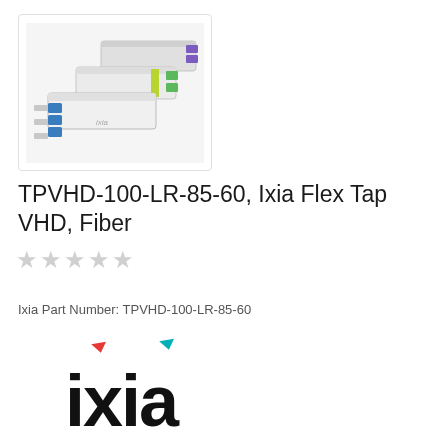[Figure (photo): Ixia Flex Tap VHD fiber network tap modules - multiple white rectangular modules with colored fiber connectors (blue, green) stacked together]
TPVHD-100-LR-85-60, Ixia Flex Tap VHD, Fiber
★★★★★ (empty stars rating)
Ixia Part Number: TPVHD-100-LR-85-60
[Figure (logo): Ixia logo - lowercase 'ixia' in black bold font with red and teal/blue accent marks above the i characters]